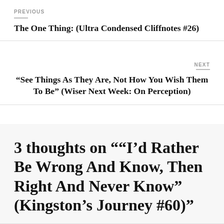PREVIOUS
The One Thing: (Ultra Condensed Cliffnotes #26)
NEXT
“See Things As They Are, Not How You Wish Them To Be” (Wiser Next Week: On Perception)
3 thoughts on ““I’d Rather Be Wrong And Know, Then Right And Never Know” (Kingston’s Journey #60)”